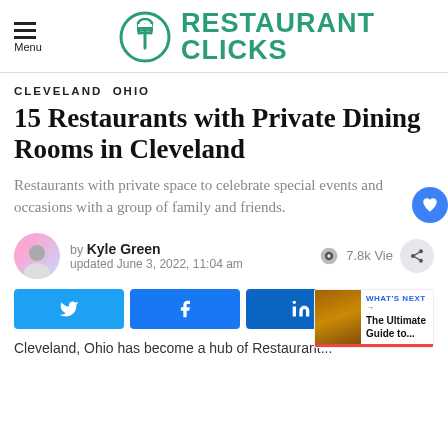Restaurant Clicks
CLEVELAND  OHIO
15 Restaurants with Private Dining Rooms in Cleveland
Restaurants with private space to celebrate special events and occasions with a group of family and friends.
by Kyle Green
updated June 3, 2022, 11:04 am
7.8k Views
Cleveland, Ohio has become a hub of Restaurant...